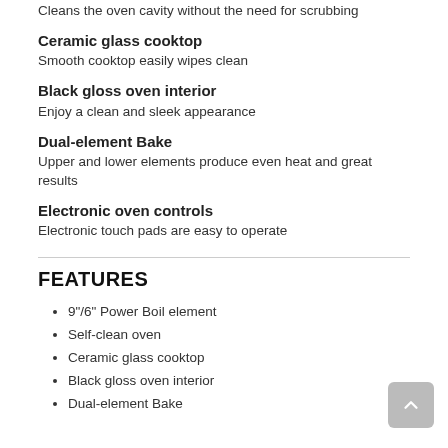Cleans the oven cavity without the need for scrubbing
Ceramic glass cooktop
Smooth cooktop easily wipes clean
Black gloss oven interior
Enjoy a clean and sleek appearance
Dual-element Bake
Upper and lower elements produce even heat and great results
Electronic oven controls
Electronic touch pads are easy to operate
FEATURES
9"/6" Power Boil element
Self-clean oven
Ceramic glass cooktop
Black gloss oven interior
Dual-element Bake